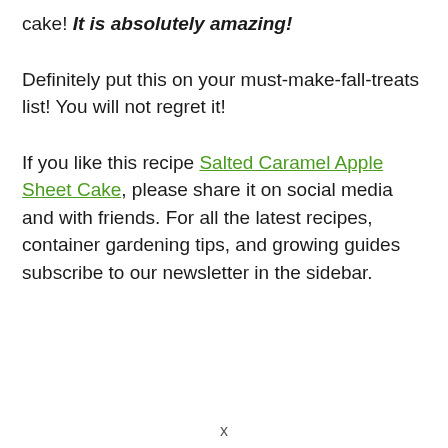cake! It is absolutely amazing!
Definitely put this on your must-make-fall-treats list! You will not regret it!
If you like this recipe Salted Caramel Apple Sheet Cake, please share it on social media and with friends. For all the latest recipes, container gardening tips, and growing guides subscribe to our newsletter in the sidebar.